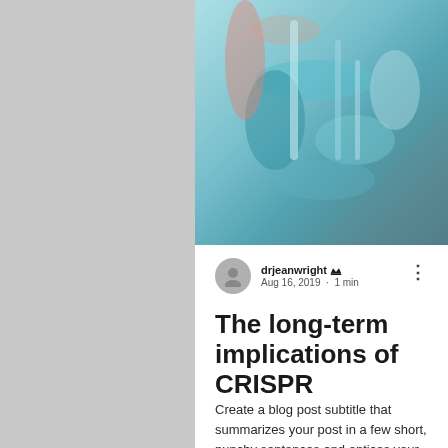[Figure (photo): Close-up photo of laboratory glassware/pipettes with teal and coral tones]
[Figure (illustration): Hexagonal molecular pattern graphic on gray background, right side]
drjeanwright 👑 Aug 16, 2019 · 1 min
The long-term implications of CRISPR
Create a blog post subtitle that summarizes your post in a few short, punchy sentences and entices your audience to continue reading. Welcome to your blog post. Use this space to connect